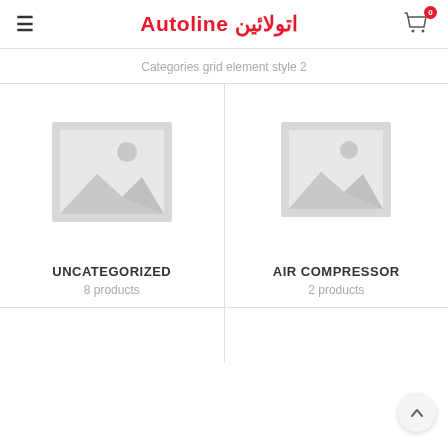≡  Autoline اتولائين  🛒0
Categories grid element style 2
[Figure (illustration): Placeholder image icon for UNCATEGORIZED category — grey image placeholder with mountain/photo icon]
UNCATEGORIZED
8 products
[Figure (illustration): Placeholder image icon for AIR COMPRESSOR category — grey image placeholder with mountain/photo icon]
AIR COMPRESSOR
2 products